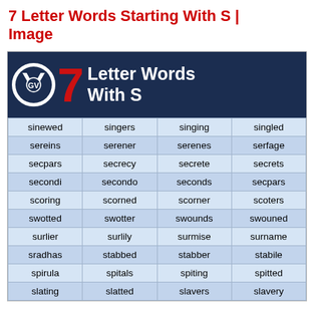7 Letter Words Starting With S | Image
[Figure (infographic): Dark navy header with logo, large red '7', and white bold text '7 Letter Words With S', followed by a 4-column table of 7-letter words starting with S including: sinewed, singers, singing, singled, sereins, serener, serenes, serfage, secpars, secrecy, secrete, secrets, secondi, secondo, seconds, secpars, scoring, scorned, scorner, scoters, swotted, swotter, swounds, swouned, surlier, surlily, surmise, surname, sradhas, stabbed, stabber, stabile, spirula, spitals, spiting, spitted, slating, slatted, slavers, slavery]